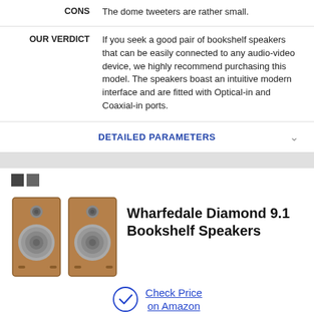CONS   The dome tweeters are rather small.
OUR VERDICT   If you seek a good pair of bookshelf speakers that can be easily connected to any audio-video device, we highly recommend purchasing this model. The speakers boast an intuitive modern interface and are fitted with Optical-in and Coaxial-in ports.
DETAILED PARAMETERS
[Figure (photo): Two Wharfedale Diamond 9.1 bookshelf speakers side by side, wood grain finish with gray woofer cones]
Wharfedale Diamond 9.1 Bookshelf Speakers
Check Price on Amazon
PROS   Each speaker has 2 pairs of connectors that allow using them for separating the signal paths to the high and low